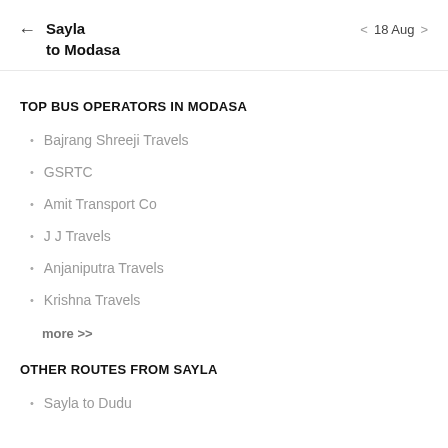Sayla to Modasa  18 Aug
TOP BUS OPERATORS IN MODASA
Bajrang Shreeji Travels
GSRTC
Amit Transport Co
J J Travels
Anjaniputra Travels
Krishna Travels
more >>
OTHER ROUTES FROM SAYLA
Sayla to Dudu